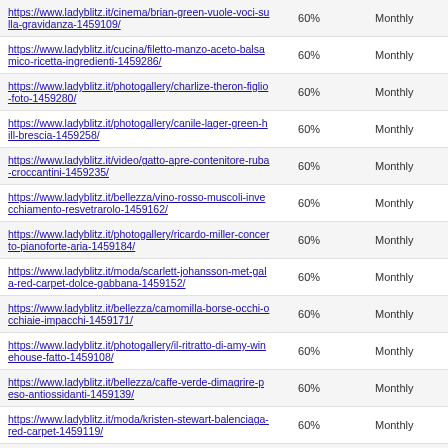| URL | Priority | Change Frequency |
| --- | --- | --- |
| https://www.ladyblitz.it/cinema/brian-green-vuole-voci-sulla-gravidanza-1459109/ | 60% | Monthly |
| https://www.ladyblitz.it/cucina/filetto-manzo-aceto-balsamico-ricetta-ingredienti-1459286/ | 60% | Monthly |
| https://www.ladyblitz.it/photogallery/charlize-theron-figlio-foto-1459280/ | 60% | Monthly |
| https://www.ladyblitz.it/photogallery/canile-lager-green-hill-brescia-1459258/ | 60% | Monthly |
| https://www.ladyblitz.it/video/gatto-apre-contenitore-ruba-croccantini-1459235/ | 60% | Monthly |
| https://www.ladyblitz.it/bellezza/vino-rosso-muscoli-invecchiamento-resvetrarolo-1459162/ | 60% | Monthly |
| https://www.ladyblitz.it/photogallery/ricardo-miller-concerto-pianoforte-aria-1459184/ | 60% | Monthly |
| https://www.ladyblitz.it/moda/scarlett-johansson-met-gala-red-carpet-dolce-gabbana-1459152/ | 60% | Monthly |
| https://www.ladyblitz.it/bellezza/camomilla-borse-occhi-occhiaie-impacchi-1459171/ | 60% | Monthly |
| https://www.ladyblitz.it/photogallery/il-ritratto-di-amy-winehouse-fatto-1459108/ | 60% | Monthly |
| https://www.ladyblitz.it/bellezza/caffe-verde-dimagrire-peso-antiossidanti-1459139/ | 60% | Monthly |
| https://www.ladyblitz.it/moda/kristen-stewart-balenciaga-red-carpet-1459119/ | 60% | Monthly |
| https://www.ladyblitz.it/photogallery/mostra-new-york-prada-schiaparelli-1459115/ | 60% | Monthly |